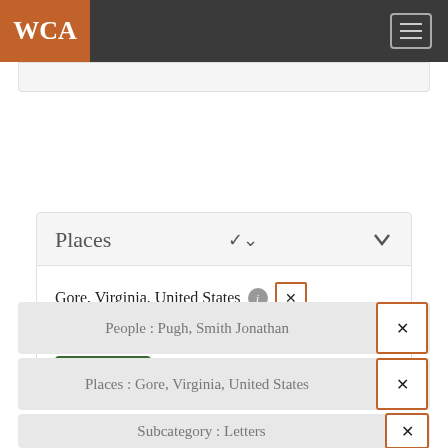WCA
Places
Gore, Virginia, United States
Pittsburgh, Pennsylvania, United States
See more
People : Pugh, Smith Jonathan
Places : Gore, Virginia, United States
Subcategory : Letters
Year : 1913